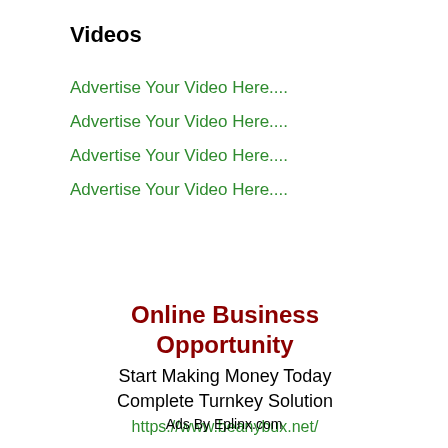Videos
Advertise Your Video Here....
Advertise Your Video Here....
Advertise Your Video Here....
Advertise Your Video Here....
Online Business Opportunity
Start Making Money Today
Complete Turnkey Solution
https://www.beanybux.net/
Ads By Eplinx.com